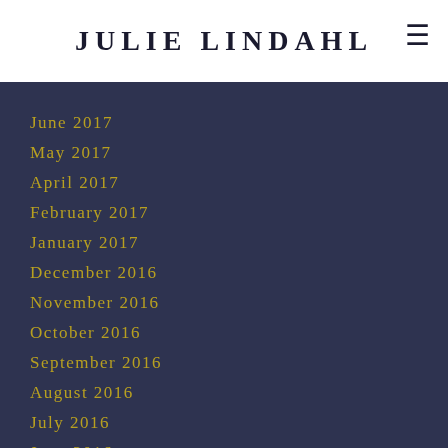JULIE LINDAHL
June 2017
May 2017
April 2017
February 2017
January 2017
December 2016
November 2016
October 2016
September 2016
August 2016
July 2016
June 2016
May 2016
March 2016
November 2015
October 2015
June 2015